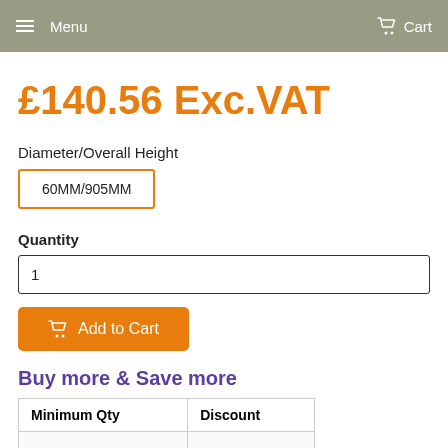Menu   Cart
£140.56 Exc.VAT
Diameter/Overall Height
60MM/905MM
Quantity
1
Add to Cart
Buy more & Save more
| Minimum Qty | Discount |
| --- | --- |